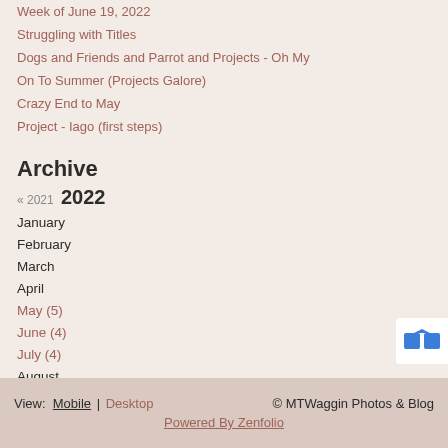Week of June 19, 2022
Struggling with Titles
Dogs and Friends and Parrot and Projects - Oh My
On To Summer (Projects Galore)
Crazy End to May
Project - Iago (first steps)
Archive
« 2021  2022
January
February
March
April
May (5)
June (4)
July (4)
August
View: Mobile | Desktop   © MTWaggin Photos & Blog   Powered By Zenfolio